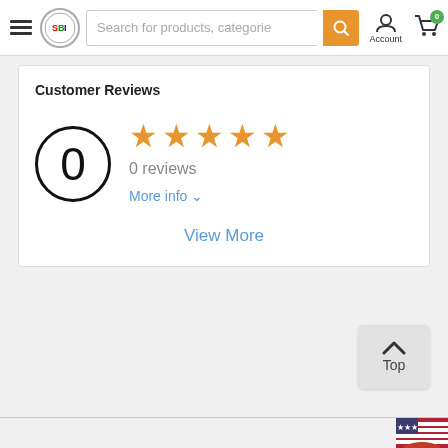[Figure (screenshot): E-commerce website navigation bar with hamburger menu, globe/logo icon, search bar with orange search button, account icon, and shopping cart with 0 badge]
Customer Reviews
0 reviews
More info ∨
View More
[Figure (other): Back to top button with upward chevron arrow and 'Top' label]
[Figure (other): US flag icon partially visible at bottom right corner]